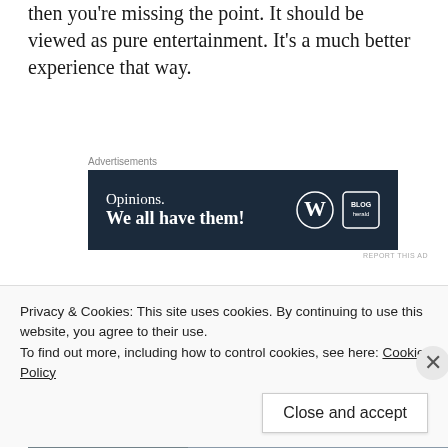then you're missing the point. It should be viewed as pure entertainment. It's a much better experience that way.
[Figure (other): Advertisement banner: 'Opinions. We all have them!' with WordPress and Blog Herald logos on dark navy background]
Twizard Rating: 96
Sponsored Content
[Figure (photo): Partially visible sponsored content image showing a person's face]
Privacy & Cookies: This site uses cookies. By continuing to use this website, you agree to their use.
To find out more, including how to control cookies, see here: Cookie Policy
Close and accept